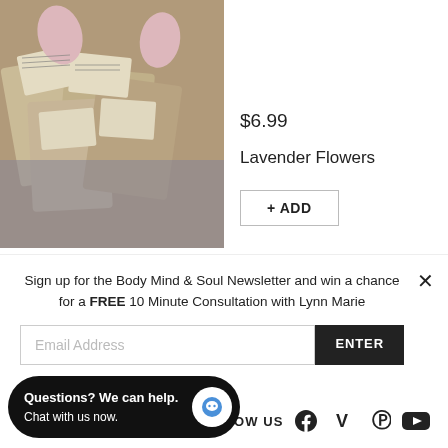[Figure (photo): Product photo showing multiple bags of lavender flowers with handwritten labels, arranged on a display]
$6.99
Lavender Flowers
+ ADD
Sign up for the Body Mind & Soul Newsletter and win a chance for a FREE 10 Minute Consultation with Lynn Marie
Email Address
ENTER
FOLLOW US
Questions? We can help.
Chat with us now.